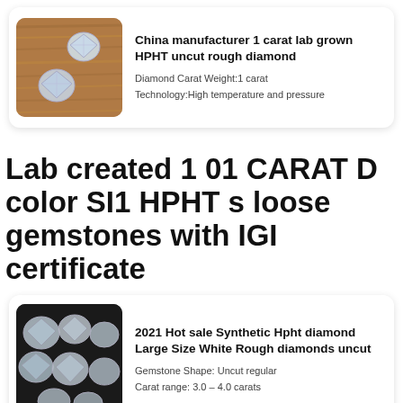[Figure (photo): Two small rough diamond crystals on a wooden surface]
China manufacturer 1 carat lab grown HPHT uncut rough diamond
Diamond Carat Weight:1 carat
Technology:High temperature and pressure
Lab created 1 01 CARAT D color SI1 HPHT s loose gemstones with IGI certificate
[Figure (photo): Multiple large rough white synthetic HPHT diamond crystals on dark background]
2021 Hot sale Synthetic Hpht diamond Large Size White Rough diamonds uncut
Gemstone Shape: Uncut regular
Carat range: 3.0 - 4.0 carats